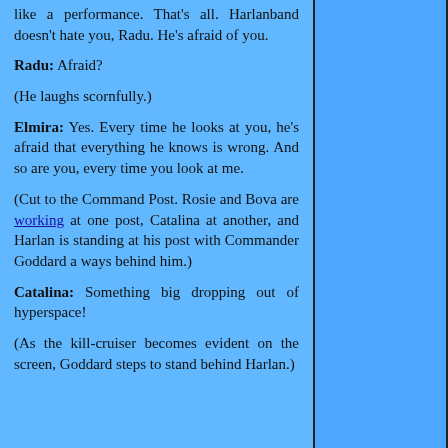like a performance. That's all. Harlanband doesn't hate you, Radu. He's afraid of you.
Radu: Afraid?
(He laughs scornfully.)
Elmira: Yes. Every time he looks at you, he's afraid that everything he knows is wrong. And so are you, every time you look at me.
(Cut to the Command Post. Rosie and Bova are working at one post, Catalina at another, and Harlan is standing at his post with Commander Goddard a ways behind him.)
Catalina: Something big dropping out of hyperspace!
(As the kill-cruiser becomes evident on the screen, Goddard steps to stand behind Harlan.)